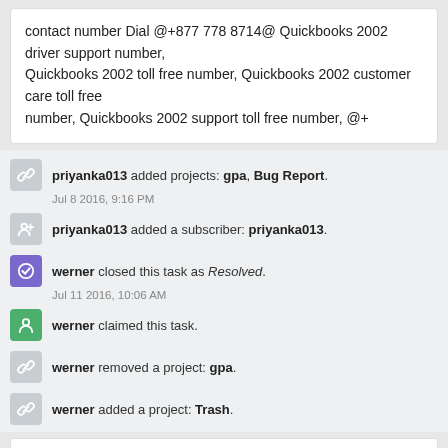contact number Dial @+877 778 8714@ Quickbooks 2002 driver support number,
Quickbooks 2002 toll free number, Quickbooks 2002 customer care toll free
number, Quickbooks 2002 support toll free number, @+
priyanka013 added projects: gpa, Bug Report.
Jul 8 2016, 9:16 PM
priyanka013 added a subscriber: priyanka013.
werner closed this task as Resolved.
Jul 11 2016, 10:06 AM
werner claimed this task.
werner removed a project: gpa.
werner added a project: Trash.
Log In to Comment